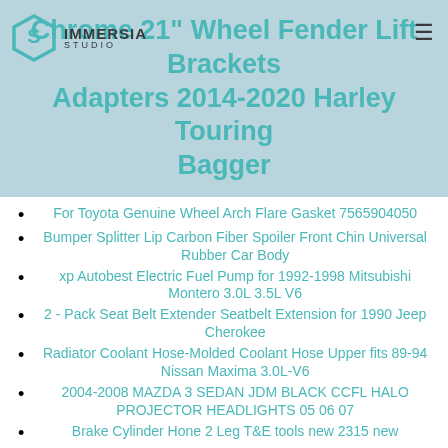Chrome 21" Wheel Fender Lift Brackets Adapters 2014-2020 Harley Touring Bagger
For Toyota Genuine Wheel Arch Flare Gasket 7565904050
Bumper Splitter Lip Carbon Fiber Spoiler Front Chin Universal Rubber Car Body
xp Autobest Electric Fuel Pump for 1992-1998 Mitsubishi Montero 3.0L 3.5L V6
2 - Pack Seat Belt Extender Seatbelt Extension for 1990 Jeep Cherokee
Radiator Coolant Hose-Molded Coolant Hose Upper fits 89-94 Nissan Maxima 3.0L-V6
2004-2008 MAZDA 3 SEDAN JDM BLACK CCFL HALO PROJECTOR HEADLIGHTS 05 06 07
Brake Cylinder Hone 2 Leg T&E tools new 2315 new
Chrome 21" Wheel Fender Lift